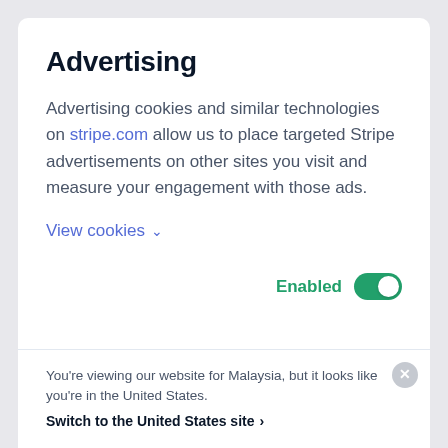Advertising
Advertising cookies and similar technologies on stripe.com allow us to place targeted Stripe advertisements on other sites you visit and measure your engagement with those ads.
View cookies ∨
Enabled [toggle: on]
You're viewing our website for Malaysia, but it looks like you're in the United States.
Switch to the United States site ›